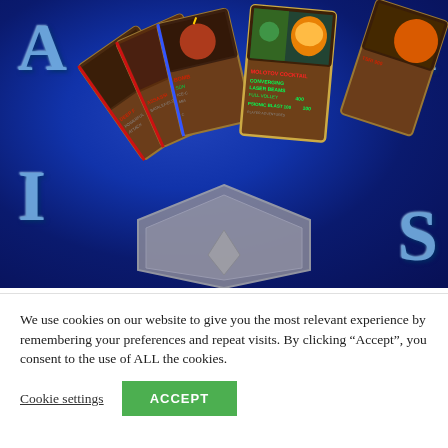[Figure (illustration): Game card fan illustration on a deep blue background with large stylized letters A, I, S visible on the sides. Multiple collectible game cards are fanned out in the center showing text like 'CONVERGING LASER BEAMS 400', 'FULL VOLLEY', 'PSIONIC BLAST 100', 'DEEP F...', 'BOMB...', 'ICE C...'. A hexagonal grey shape is visible at the bottom.]
We use cookies on our website to give you the most relevant experience by remembering your preferences and repeat visits. By clicking “Accept”, you consent to the use of ALL the cookies.
Cookie settings
ACCEPT